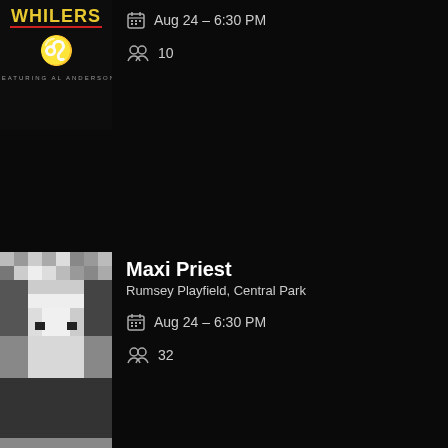[Figure (photo): Whilers album art - black background with stylized text and lion emblem, featuring Al Anderson]
Aug 24 – 6:30 PM
10
[Figure (photo): Maxi Priest album art - mosaic portrait of a face]
Maxi Priest
Rumsey Playfield, Central Park
Aug 24 – 6:30 PM
32
[Figure (photo): Sydney Rose collage of four concert/artist photos]
Sydney Rose
Elsewhere
Aug 24 – 6:30 PM
[Figure (photo): Paul C. Cuthbert event image - purple banner with text]
Cuthbert Live